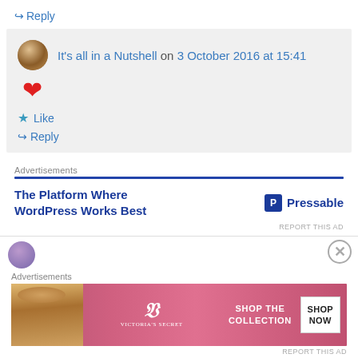↪ Reply
It's all in a Nutshell on 3 October 2016 at 15:41
[Figure (illustration): Red heart emoji]
★ Like
↪ Reply
Advertisements
The Platform Where WordPress Works Best   Pressable
REPORT THIS AD
Advertisements
[Figure (photo): Victoria's Secret advertisement banner: woman with curly hair, VS logo, SHOP THE COLLECTION text, SHOP NOW button]